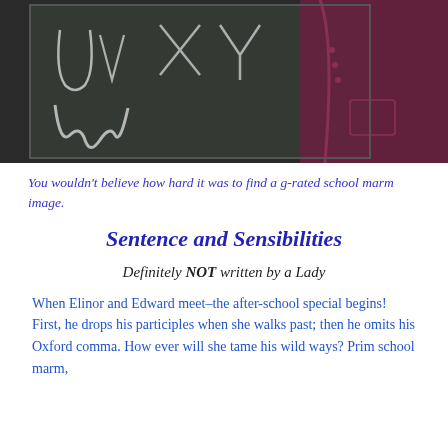[Figure (photo): A person in a maroon/dark red jacket writing cursive letters on a chalkboard. The letters U, V, W, X, Y are visible in chalk on the dark board.]
You wouldn't believe how hard it was to find a g-rated school marm image.
Sentence and Sensibilities
Definitely NOT written by a Lady
When Elinor and Edward meet–the after-school special begins! First, he drops his participles when she walks past; then he omits his Oxford comma. How ever will she tame his wild ways? Prim school marm,